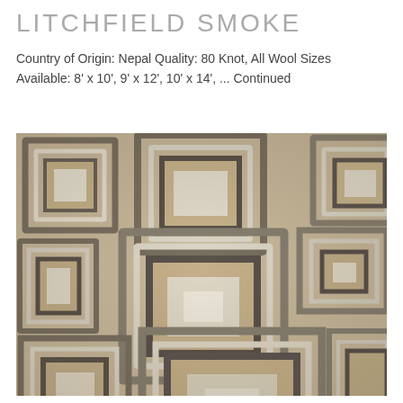LITCHFIELD SMOKE
Country of Origin: Nepal Quality: 80 Knot, All Wool Sizes Available: 8' x 10', 9' x 12', 10' x 14', ... Continued
[Figure (photo): Close-up photograph of the Litchfield Smoke rug showing a geometric nested rectangle pattern in neutral tones of beige, tan, cream, and grey/charcoal wool.]